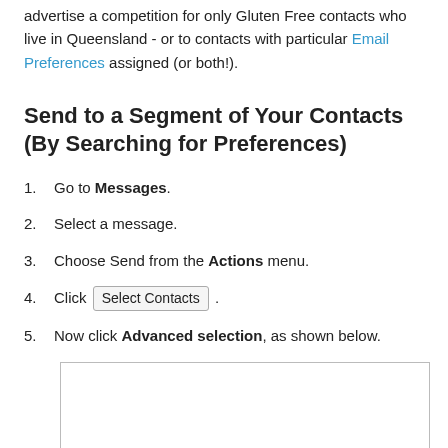advertise a competition for only Gluten Free contacts who live in Queensland - or to contacts with particular Email Preferences assigned (or both!).
Send to a Segment of Your Contacts (By Searching for Preferences)
Go to Messages.
Select a message.
Choose Send from the Actions menu.
Click Select Contacts .
Now click Advanced selection, as shown below.
[Figure (screenshot): Screenshot placeholder showing Advanced selection UI]